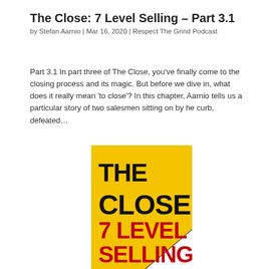The Close: 7 Level Selling – Part 3.1
by Stefan Aarnio | Mar 16, 2020 | Respect The Grind Podcast
Part 3.1 In part three of The Close, you've finally come to the closing process and its magic. But before we dive in, what does it really mean 'to close'? In this chapter, Aarnio tells us a particular story of two salesmen sitting on by he curb, defeated…
[Figure (illustration): Book cover for 'The Close 7 Level Selling' by Stefan Aarnio. Yellow background with bold black text 'THE CLOSE' and red text '7 LEVEL SELLING'. Bottom right corner shows a white folded page triangle with a dark diagonal line.]